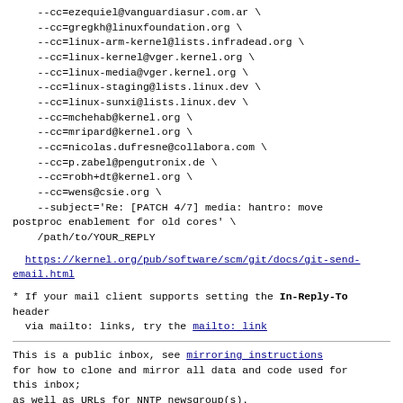--cc=ezequiel@vanguardiasur.com.ar \
    --cc=gregkh@linuxfoundation.org \
    --cc=linux-arm-kernel@lists.infradead.org \
    --cc=linux-kernel@vger.kernel.org \
    --cc=linux-media@vger.kernel.org \
    --cc=linux-staging@lists.linux.dev \
    --cc=linux-sunxi@lists.linux.dev \
    --cc=mchehab@kernel.org \
    --cc=mripard@kernel.org \
    --cc=nicolas.dufresne@collabora.com \
    --cc=p.zabel@pengutronix.de \
    --cc=robh+dt@kernel.org \
    --cc=wens@csie.org \
    --subject='Re: [PATCH 4/7] media: hantro: move postproc enablement for old cores' \
    /path/to/YOUR_REPLY
https://kernel.org/pub/software/scm/git/docs/git-send-email.html
* If your mail client supports setting the In-Reply-To header
  via mailto: links, try the mailto: link
This is a public inbox, see mirroring instructions
for how to clone and mirror all data and code used for this inbox;
as well as URLs for NNTP newsgroup(s).